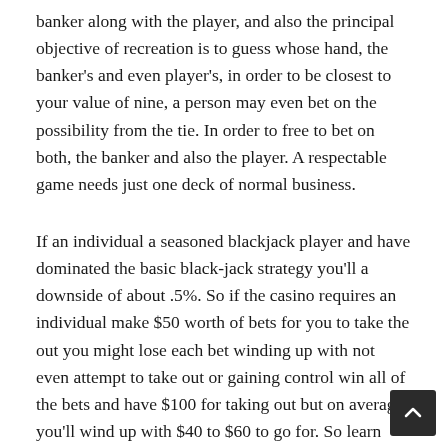banker along with the player, and also the principal objective of recreation is to guess whose hand, the banker's and even player's, in order to be closest to your value of nine, a person may even bet on the possibility from the tie. In order to free to bet on both, the banker and also the player. A respectable game needs just one deck of normal business.
If an individual a seasoned blackjack player and have dominated the basic black-jack strategy you'll a downside of about .5%. So if the casino requires an individual make $50 worth of bets for you to take the out you might lose each bet winding up with not even attempt to take out or gaining control win all of the bets and have $100 for taking out but on average you'll wind up with $40 to $60 to go for. So learn UFABET in twenty-one before start out to take pleasure in. If